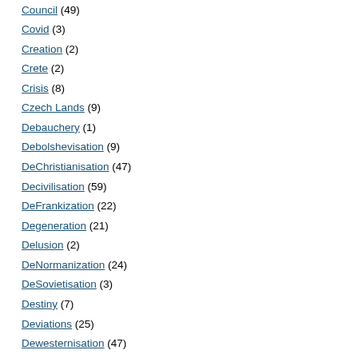Council (49)
Covid (3)
Creation (2)
Crete (2)
Crisis (8)
Czech Lands (9)
Debauchery (1)
Debolshevisation (9)
DeChristianisation (47)
Decivilisation (59)
DeFrankization (22)
Degeneration (21)
Delusion (2)
DeNormanization (24)
DeSovietisation (3)
Destiny (7)
Deviations (25)
Dewesternisation (47)
Diary (1)